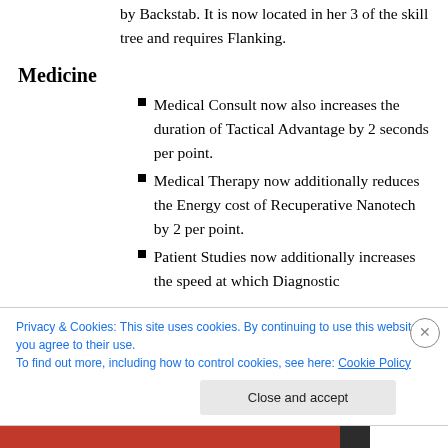by Backstab. It is now located in her 3 of the skill tree and requires Flanking.
Medicine
Medical Consult now also increases the duration of Tactical Advantage by 2 seconds per point.
Medical Therapy now additionally reduces the Energy cost of Recuperative Nanotech by 2 per point.
Patient Studies now additionally increases the speed at which Diagnostic
Privacy & Cookies: This site uses cookies. By continuing to use this website, you agree to their use.
To find out more, including how to control cookies, see here: Cookie Policy
Close and accept